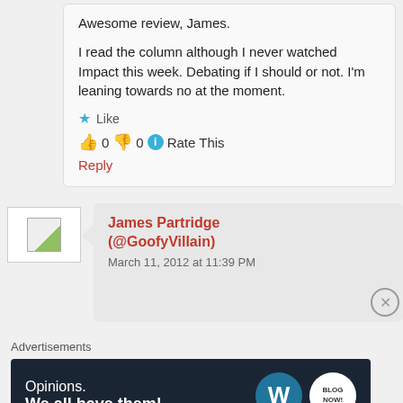Awesome review, James!

I read the column although I never watched Impact this week. Debating if I should or not. I'm leaning towards no at the moment.
Like
👍 0 👎 0 ℹ Rate This
Reply
[Figure (photo): User avatar placeholder image]
James Partridge (@GoofyVillain)
March 11, 2012 at 11:39 PM
Advertisements
[Figure (other): Advertisement banner: Opinions. We all have them! with WordPress and other logos on dark background]